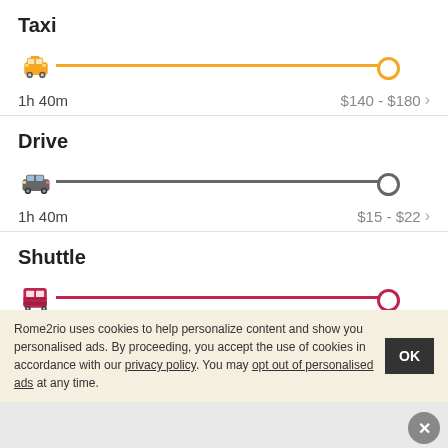Taxi
[Figure (infographic): Taxi route line with yellow taxi icon on left, orange horizontal line with circle endpoint on right]
1h 40m   $140 - $180 →
Drive
[Figure (infographic): Drive route line with grey car icon on left, grey horizontal line with circle endpoint on right]
1h 40m   $15 - $22 →
Shuttle
[Figure (infographic): Shuttle route line with red bus icon on left, red horizontal line with circle endpoint on right]
Rome2rio uses cookies to help personalize content and show you personalised ads. By proceeding, you accept the use of cookies in accordance with our privacy policy. You may opt out of personalised ads at any time.